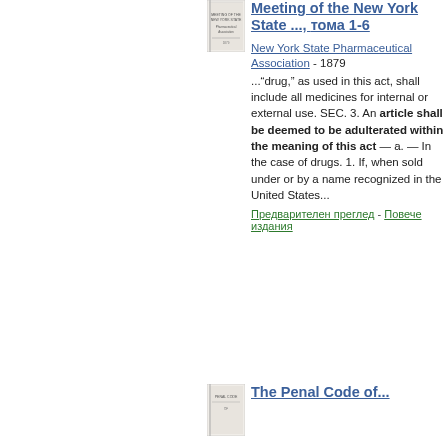[Figure (illustration): Small thumbnail image of a book cover for Meeting of the New York State Pharmaceutical Association]
Meeting of the New York State ..., тома 1-6
New York State Pharmaceutical Association - 1879
..."drug," as used in this act, shall include all medicines for internal or external use. SEC. 3. An article shall be deemed to be adulterated within the meaning of this act — a. — In the case of drugs. 1. If, when sold under or by a name recognized in the United States...
Предварителен преглед - Повече издания
[Figure (illustration): Small thumbnail image of a book cover for The Penal Code of...]
The Penal Code of...